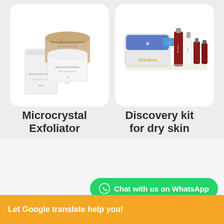[Figure (photo): Microcrystal Exfoliator product photo showing cream jar and box on white card background]
[Figure (photo): Discovery kit for dry skin product photo showing branded pouch and skincare bottles on white card background]
Microcrystal Exfoliator
€46.50
Discovery kit for dry skin
€79.00
Chat with us on WhatsApp
Let Google translate help you!
E YOUR